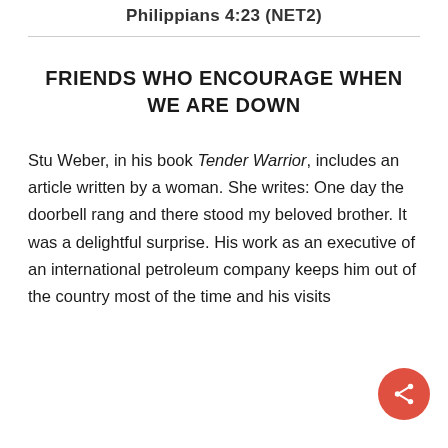Philippians 4:23 (NET2)
FRIENDS WHO ENCOURAGE WHEN WE ARE DOWN
Stu Weber, in his book Tender Warrior, includes an article written by a woman. She writes: One day the doorbell rang and there stood my beloved brother. It was a delightful surprise. His work as an executive of an international petroleum company keeps him out of the country most of the time and his visits…